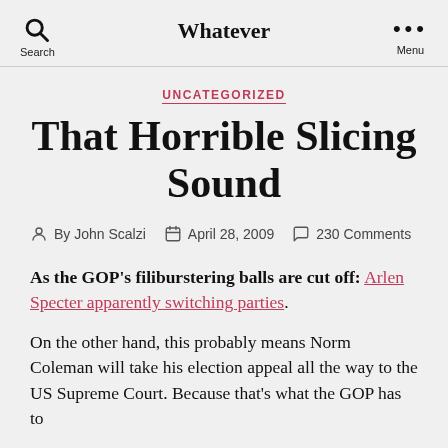Whatever
UNCATEGORIZED
That Horrible Slicing Sound
By John Scalzi  April 28, 2009  230 Comments
As the GOP's filiburstering balls are cut off: Arlen Specter apparently switching parties.
On the other hand, this probably means Norm Coleman will take his election appeal all the way to the US Supreme Court. Because that's what the GOP has to